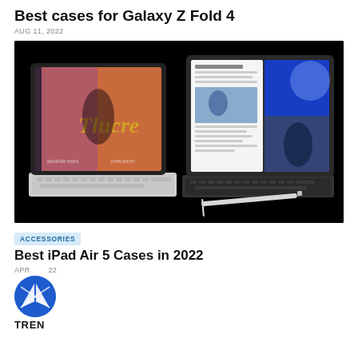Best cases for Galaxy Z Fold 4
AUG 11, 2022
[Figure (photo): Two iPad tablets with keyboard cases and an Apple Pencil on a dark background]
ACCESSORIES
Best iPad Air 5 Cases in 2022
APR 2022
[Figure (logo): TREN logo - blue circle with white arrow/navigation icon]
TREN